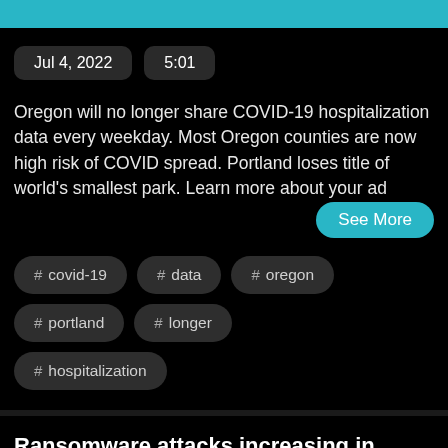Listen Later
Jul 4, 2022   5:01
Oregon will no longer share COVID-19 hospitalization data every weekday. Most Oregon counties are now high risk of COVID spread. Portland loses title of world's smallest park. Learn more about your ad
See More
# covid-19
# data
# oregon
# portland
# longer
# hospitalization
Ransomware attacks increasing in Oregon, nationwide, FBI says